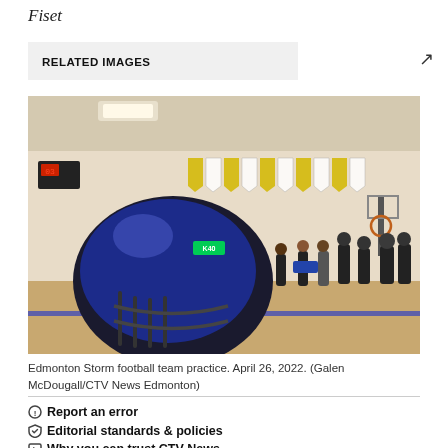Fiset
RELATED IMAGES
[Figure (photo): Edmonton Storm football team practice in a gymnasium. A blue and black football helmet sits in the foreground on a gym floor, with players gathered in the background. Championship banners hang on the wall. April 26, 2022.]
Edmonton Storm football team practice. April 26, 2022. (Galen McDougall/CTV News Edmonton)
Report an error
Editorial standards & policies
Why you can trust CTV News